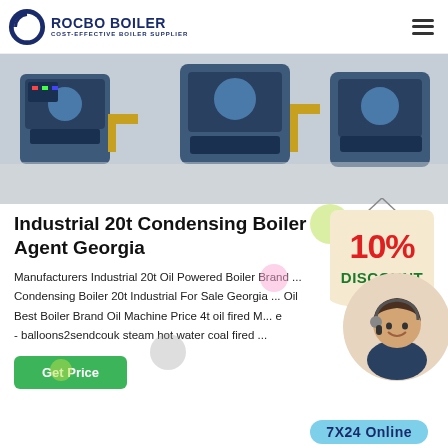[Figure (logo): Rocbo Boiler logo with crescent icon and text 'ROCBO BOILER - COST-EFFECTIVE BOILER SUPPLIER']
[Figure (photo): Industrial boiler room with large blue boiler units and piping on a white floor]
Industrial 20t Condensing Boiler Agent Georgia
Manufacturers Industrial 20t Oil Powered Boiler Brand ... Condensing Boiler 20t Industrial For Sale Georgia ... Oil Best Boiler Brand Oil Machine Price 4t oil fired M... e - balloons2sendcouk steam hot water coal fired ...
[Figure (illustration): 10% DISCOUNT badge hanging sign]
[Figure (photo): Customer service woman with headset smiling]
Get Price
7X24 Online